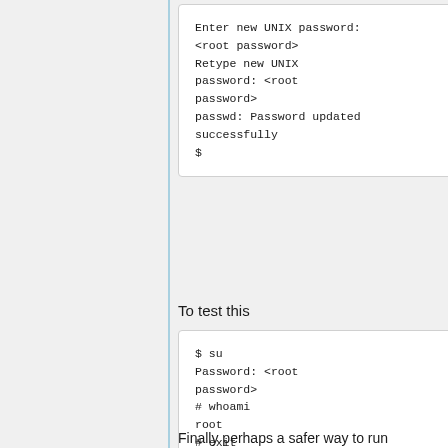[Figure (screenshot): Terminal code block showing UNIX password entry prompts and success message]
To test this
[Figure (screenshot): Terminal code block showing su command, password prompt, whoami output showing root, and exit command]
Finally perhaps a safer way to run